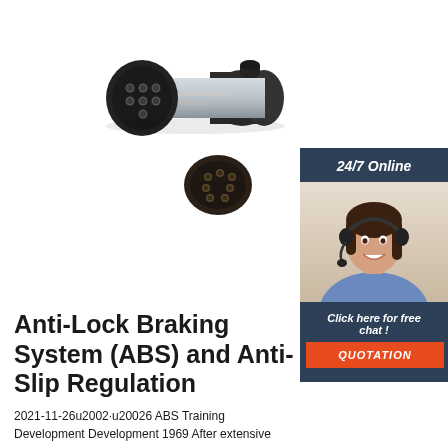[Figure (photo): Electrical connector components: a cylindrical 7-pin trailer connector plug (metal body with black rubber cap) and a small round 7-pin socket insert, photographed on white background]
[Figure (photo): Online chat support advertisement: dark blue header with '24/7 Online' text, photo of a smiling woman with a headset, dark blue footer with 'Click here for free chat!' and an orange 'QUOTATION' button]
Anti-Lock Braking System (ABS) and Anti-Slip Regulation
2021-11-26u2002·u20026 ABS Training Development Development 1969 After extensive